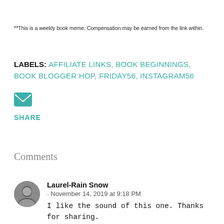**This is a weekly book meme. Compensation may be earned from the link within.
LABELS: AFFILIATE LINKS, BOOK BEGINNINGS, BOOK BLOGGER HOP, FRIDAY56, INSTAGRAM56
[Figure (other): Email/share icon — teal envelope icon]
SHARE
Comments
Laurel-Rain Snow · November 14, 2019 at 9:18 PM
I like the sound of this one. Thanks for sharing.